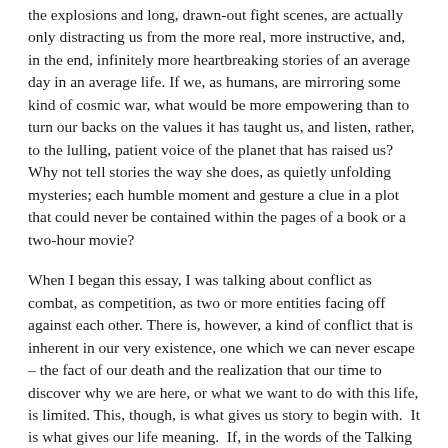the explosions and long, drawn-out fight scenes, are actually only distracting us from the more real, more instructive, and, in the end, infinitely more heartbreaking stories of an average day in an average life. If we, as humans, are mirroring some kind of cosmic war, what would be more empowering than to turn our backs on the values it has taught us, and listen, rather, to the lulling, patient voice of the planet that has raised us? Why not tell stories the way she does, as quietly unfolding mysteries; each humble moment and gesture a clue in a plot that could never be contained within the pages of a book or a two-hour movie?
When I began this essay, I was talking about conflict as combat, as competition, as two or more entities facing off against each other. There is, however, a kind of conflict that is inherent in our very existence, one which we can never escape – the fact of our death and the realization that our time to discover why we are here, or what we want to do with this life, is limited. This, though, is what gives us story to begin with.  It is what gives our life meaning.  If, in the words of the Talking Heads, "Heaven is a